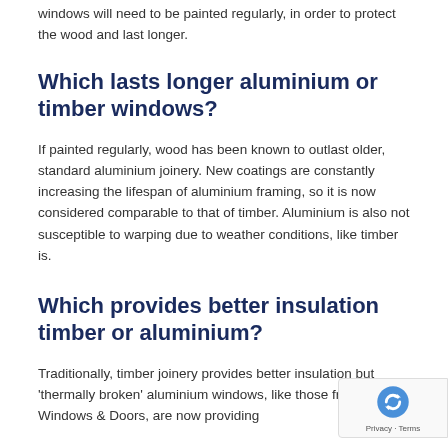windows will need to be painted regularly, in order to protect the wood and last longer.
Which lasts longer aluminium or timber windows?
If painted regularly, wood has been known to outlast older, standard aluminium joinery. New coatings are constantly increasing the lifespan of aluminium framing, so it is now considered comparable to that of timber. Aluminium is also not susceptible to warping due to weather conditions, like timber is.
Which provides better insulation timber or aluminium?
Traditionally, timber joinery provides better insulation but 'thermally broken' aluminium windows, like those from FIRST Windows & Doors, are now providing